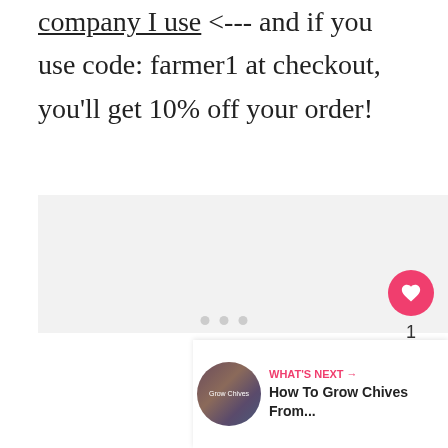company I use <--- and if you use code: farmer1 at checkout, you'll get 10% off your order!
[Figure (other): Large image placeholder area with light gray background, showing carousel navigation dots at the bottom]
WHAT'S NEXT → How To Grow Chives From...